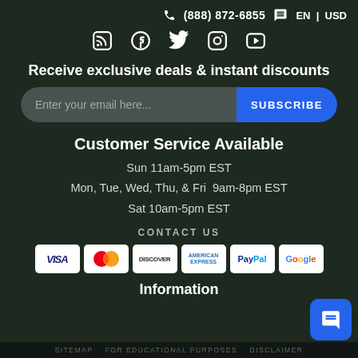(888) 872-6855  EN | USD
[Figure (infographic): Social media icons row: RSS, Facebook, Twitter, Instagram, YouTube]
Receive exclusive deals & instant discounts
Enter your email here...  [SUBSCRIBE button]
Customer Service Available
Sun 11am-5pm EST
Mon, Tue, Wed, Thu, & Fri  9am-8pm EST
Sat 10am-5pm EST
CONTACT US
[Figure (infographic): Payment method logos: VISA, MasterCard, Discover, American Express, PayPal, Google]
Information
SITEMAP   FOR EDUCATIONAL PURPOSES   DISCLAIMER